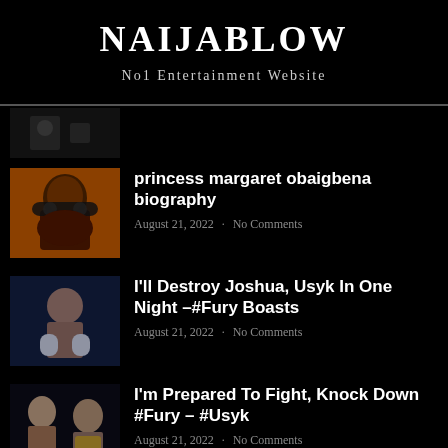NAIJABLOW
No1 Entertainment Website
[Figure (photo): Dark thumbnail image of a figure, partially visible at top of article list]
[Figure (photo): Photo of an elderly Black woman with dark sunglasses, orange/warm toned background]
princess margaret obaigbena biography
August 21, 2022 · No Comments
[Figure (photo): Photo of a bald male boxer with gloves raised, dark blue stage lighting background]
I'll Destroy Joshua, Usyk In One Night –#Fury Boasts
August 21, 2022 · No Comments
[Figure (photo): Photo of two boxers side by side, one with beard and one holding a trophy belt]
I'm Prepared To Fight, Knock Down #Fury – #Usyk
August 21, 2022 · No Comments